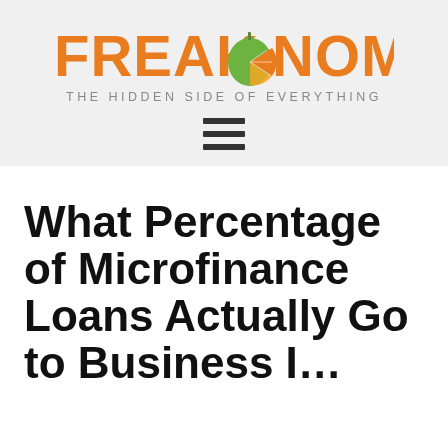[Figure (logo): Freakonomics logo with orange text and a fruit graphic (green apple merged with orange slice) between FREAK and NOMICS]
THE HIDDEN SIDE OF EVERYTHING
[Figure (other): Hamburger menu icon — three horizontal bars]
What Percentage of Microfinance Loans Actually Go to Business I...